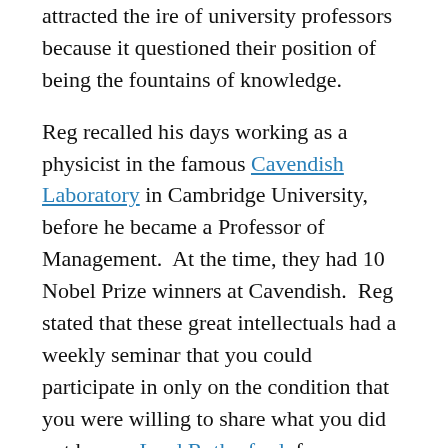attracted the ire of university professors because it questioned their position of being the fountains of knowledge.
Reg recalled his days working as a physicist in the famous Cavendish Laboratory in Cambridge University, before he became a Professor of Management.  At the time, they had 10 Nobel Prize winners at Cavendish.  Reg stated that these great intellectuals had a weekly seminar that you could participate in only on the condition that you were willing to share what you did not know.  Lord Rutherford, for example, would turn up and state how impressed he was with his own ignorance.
Reg suggested that admitting what you do not...